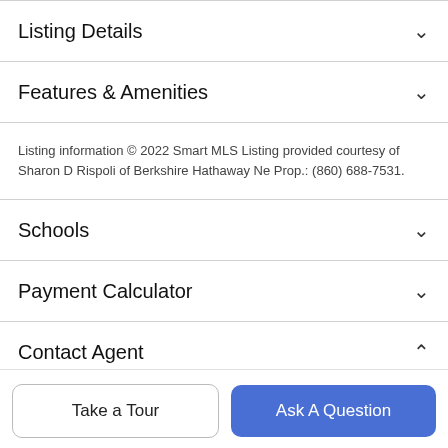Listing Details
Features & Amenities
Listing information © 2022 Smart MLS Listing provided courtesy of Sharon D Rispoli of Berkshire Hathaway Ne Prop.: (860) 688-7531.
Schools
Payment Calculator
Contact Agent
Take a Tour
Ask A Question